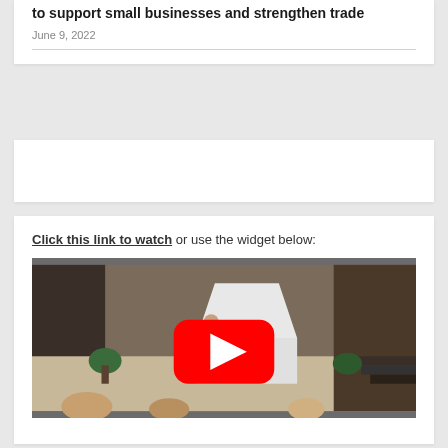to support small businesses and strengthen trade
June 9, 2022
Click this link to watch or use the widget below:
[Figure (screenshot): YouTube video embed thumbnail showing a speaker at a podium in an indoor venue with decorative elements, with a YouTube play button overlay in red and white.]